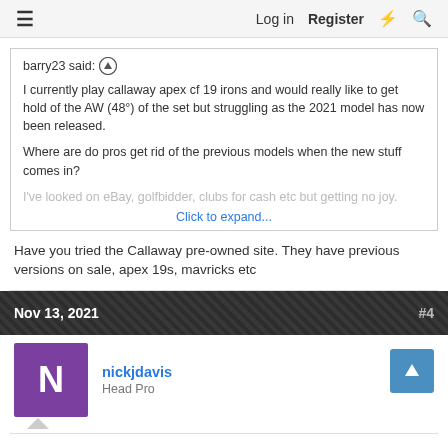Log in  Register
barry23 said: ↑

I currently play callaway apex cf 19 irons and would really like to get hold of the AW (48°) of the set but struggling as the 2021 model has now been released.

Where are do pros get rid of the previous models when the new stuff comes in?

I've looked on eBay, golfbidder, clubs for cash etc but getting no joy.
Click to expand...
Have you tried the Callaway pre-owned site. They have previous versions on sale, apex 19s, mavricks etc
Nov 13, 2021  #4
nickjdavis
Head Pro